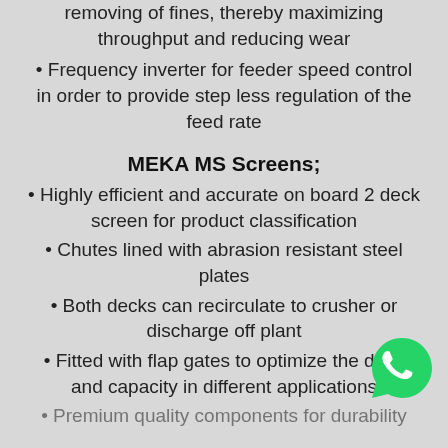removing of fines, thereby maximizing throughput and reducing wear
Frequency inverter for feeder speed control in order to provide step less regulation of the feed rate
MEKA MS Screens;
Highly efficient and accurate on board 2 deck screen for product classification
Chutes lined with abrasion resistant steel plates
Both decks can recirculate to crusher or discharge off plant
Fitted with flap gates to optimize the d... and capacity in different applications
Premium quality components for durability